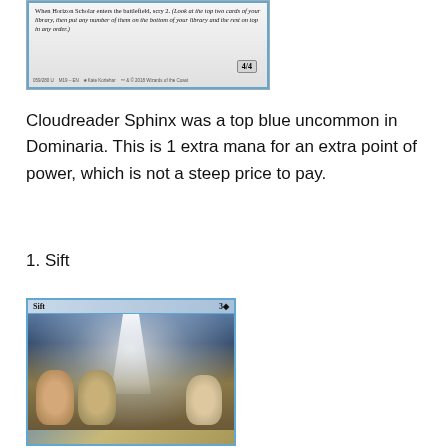[Figure (illustration): Bottom portion of a Magic: The Gathering card showing italicized rules text about scry 2, a 4/4 power/toughness stat box, and card set information at the bottom]
Cloudreader Sphinx was a top blue uncommon in Dominaria. This is 1 extra mana for an extra point of power, which is not a steep price to pay.
1. Sift
[Figure (illustration): Magic: The Gathering card named Sift with cost 3U showing three humanoid faces looking upward toward a bright light beam, with blue card border]